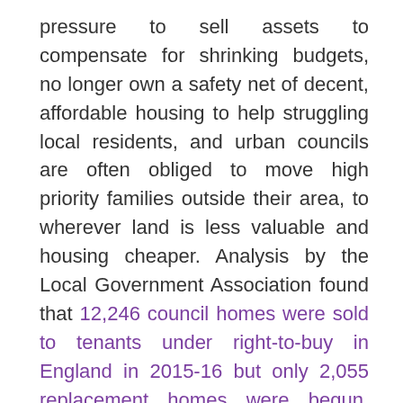pressure to sell assets to compensate for shrinking budgets, no longer own a safety net of decent, affordable housing to help struggling local residents, and urban councils are often obliged to move high priority families outside their area, to wherever land is less valuable and housing cheaper. Analysis by the Local Government Association found that 12,246 council homes were sold to tenants under right-to-buy in England in 2015-16 but only 2,055 replacement homes were begun, 27% fewer than the previous year. The LGA is very clear about the growing shortage of houses and the need to build 'genuinely affordable homes' for current and future generations.
Many families are left in the precariousness of the